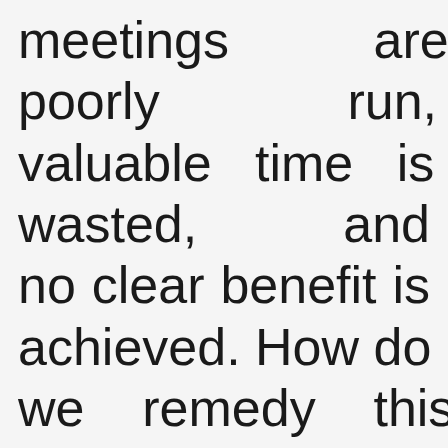meetings are poorly run, valuable time is wasted, and no clear benefit is achieved. How do we remedy this